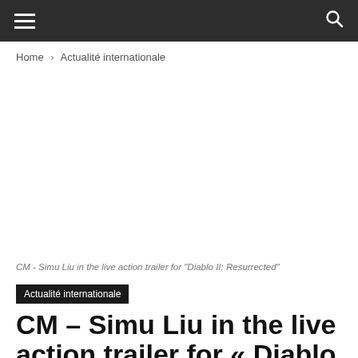≡  🔍
Home › Actualité internationale
[Figure (photo): White/blank image area — live action trailer still for Diablo II: Resurrected featuring Simu Liu]
CM - Simu Liu in the live action trailer for "Diablo II: Resurrected"
Actualité internationale
CM – Simu Liu in the live action trailer for « Diablo II: